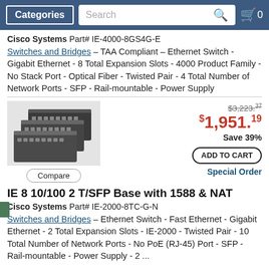Categories | Search | 0
Cisco Systems Part# IE-4000-8GS4G-E
Switches and Bridges – TAA Compliant – Ethernet Switch - Gigabit Ethernet - 8 Total Expansion Slots - 4000 Product Family - No Stack Port - Optical Fiber - Twisted Pair - 4 Total Number of Network Ports - SFP - Rail-mountable - Power Supply
[Figure (photo): Three Cisco industrial Ethernet switches stacked/grouped together]
$3,223.37 $1,951.19 Save 39%
ADD TO CART
Special Order
Compare
IE 8 10/100 2 T/SFP Base with 1588 & NAT
Cisco Systems Part# IE-2000-8TC-G-N
Switches and Bridges – Ethernet Switch - Fast Ethernet - Gigabit Ethernet - 2 Total Expansion Slots - IE-2000 - Twisted Pair - 10 Total Number of Network Ports - No PoE (RJ-45) Port - SFP - Rail-mountable - Power Supply - 2 ...